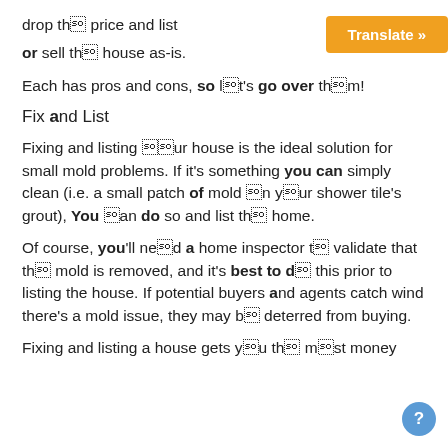drop the price and list
[Figure (other): Orange Translate button in top right corner]
or sell the house as-is.
Each has pros and cons, so let's go over them!
Fix and List
Fixing and listing your house is the ideal solution for small mold problems. If it's something you can simply clean (i.e. a small patch of mold in your shower tile's grout), You can do so and list the home.
Of course, you'll need a home inspector to validate that the mold is removed, and it's best to do this prior to listing the house. If potential buyers and agents catch wind there's a mold issue, they may be deterred from buying.
Fixing and listing a house gets you the most money